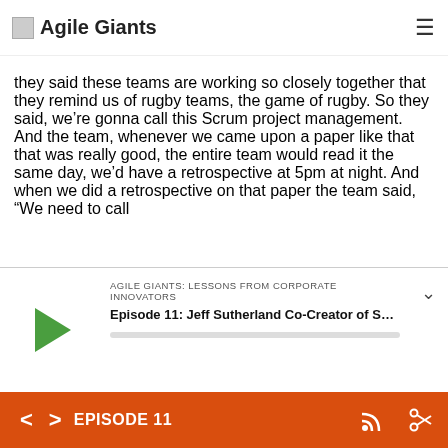Agile Giants
they said these teams are working so closely together that they remind us of rugby teams, the game of rugby. So they said, we’re gonna call this Scrum project management. And the team, whenever we came upon a paper like that that was really good, the entire team would read it the same day, we’d have a retrospective at 5pm at night. And when we did a retrospective on that paper the team said, “We need to call
AGILE GIANTS: LESSONS FROM CORPORATE INNOVATORS
Episode 11: Jeff Sutherland Co-Creator of Scrum, ...
EPISODE 11